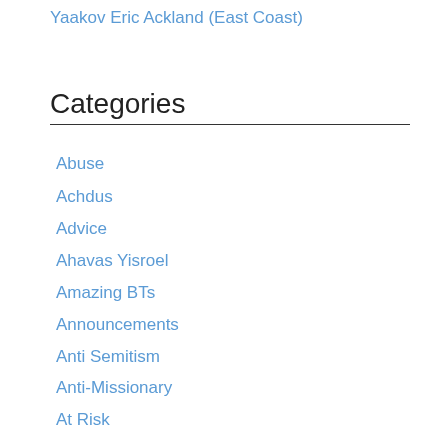Yaakov Eric Ackland (East Coast)
Categories
Abuse
Achdus
Advice
Ahavas Yisroel
Amazing BTs
Announcements
Anti Semitism
Anti-Missionary
At Risk
Attitudes
Audio
Becoming Observant